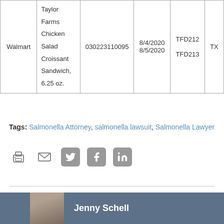| Walmart | Taylor Farms Chicken Salad Croissant Sandwich, 6.25 oz. | 030223110095 | 8/4/2020
8/5/2020 | TFD212
TFD213 | TX |
Tags: Salmonella Attorney, salmonella lawsuit, Salmonella Lawyer
[Figure (other): Social sharing icons: print, email, Twitter, Facebook, LinkedIn]
Jenny Schell